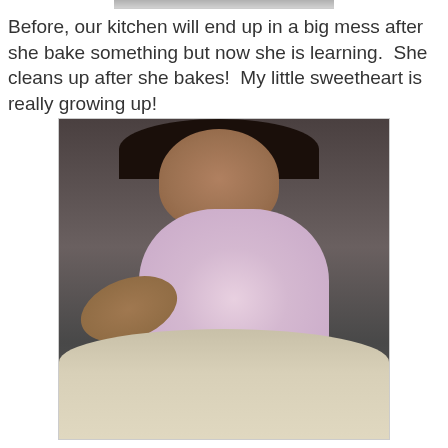Before, our kitchen will end up in a big mess after she bake something but now she is learning.  She cleans up after she bakes!  My little sweetheart is really growing up!
[Figure (photo): A young girl wearing a pink tank top with a blue heart design, frosting a cake with a knife, viewed from above at a downward angle.]